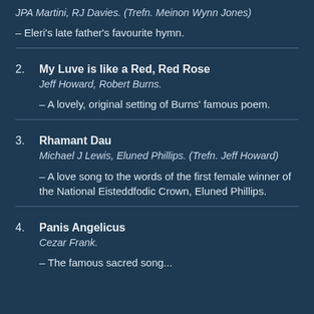JPA Martini, RJ Davies. (Trefn. Meinon Wynn Jones)
– Eleri's late father's favourite hymn.
2. My Luve is like a Red, Red Rose
Jeff Howard, Robert Burns.
– A lovely, original setting of Burns' famous poem.
3. Rhamant Dau
Michael J Lewis, Eluned Phillips. (Trefn. Jeff Howard)
– A love song to the words of the first female winner of the National Eisteddfodic Crown, Eluned Phillips.
4. Panis Angelicus
Cezar Frank.
– The famous sacred song...